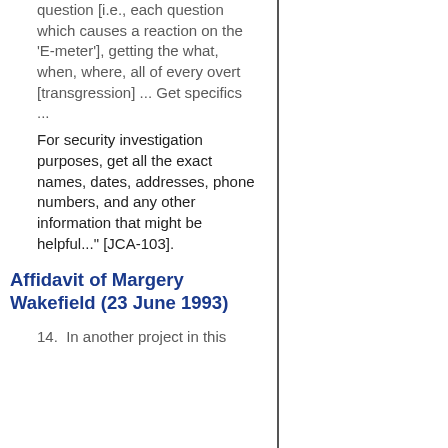question [i.e., each question which causes a reaction on the 'E-meter'], getting the what, when, where, all of every overt [transgression] ... Get specifics ...
For security investigation purposes, get all the exact names, dates, addresses, phone numbers, and any other information that might be helpful..." [JCA-103].
Affidavit of Margery Wakefield (23 June 1993)
14.  In another project in this